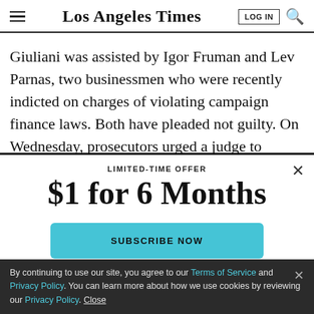Los Angeles Times
Giuliani was assisted by Igor Fruman and Lev Parnas, two businessmen who were recently indicted on charges of violating campaign finance laws. Both have pleaded not guilty. On Wednesday, prosecutors urged a judge to
LIMITED-TIME OFFER
$1 for 6 Months
SUBSCRIBE NOW
By continuing to use our site, you agree to our Terms of Service and Privacy Policy. You can learn more about how we use cookies by reviewing our Privacy Policy. Close